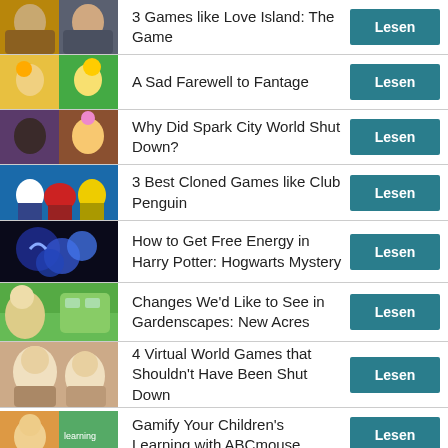3 Games like Love Island: The Game
A Sad Farewell to Fantage
Why Did Spark City World Shut Down?
3 Best Cloned Games like Club Penguin
How to Get Free Energy in Harry Potter: Hogwarts Mystery
Changes We'd Like to See in Gardenscapes: New Acres
4 Virtual World Games that Shouldn't Have Been Shut Down
Gamify Your Children's Learning with ABCmouse